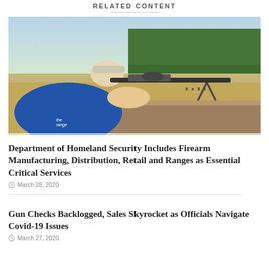RELATED CONTENT
[Figure (photo): Person in blue jacket and baseball cap aiming a scoped rifle mounted on a bipod at an outdoor shooting range, with trees and a dirt field visible in the background.]
Department of Homeland Security Includes Firearm Manufacturing, Distribution, Retail and Ranges as Essential Critical Services
March 28, 2020
Gun Checks Backlogged, Sales Skyrocket as Officials Navigate Covid-19 Issues
March 27, 2020